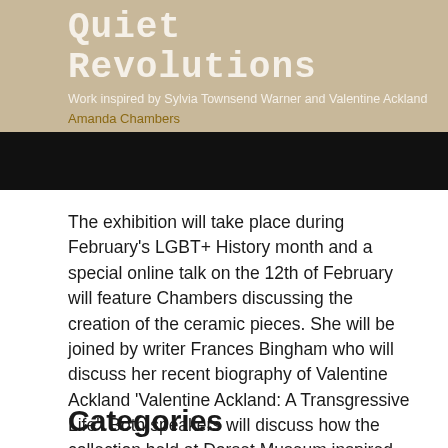[Figure (photo): Banner image with beige/tan background showing exhibition cover. Contains title 'Quiet Revolutions', subtitle 'Work inspired by Sylvia Townsend Warner and Valentine Ackland', author 'Amanda Chambers', and a black bar overlay at the bottom.]
The exhibition will take place during February's LGBT+ History month and a special online talk on the 12th of February will feature Chambers discussing the creation of the ceramic pieces. She will be joined by writer Frances Bingham who will discuss her recent biography of Valentine Ackland 'Valentine Ackland: A Transgressive Life'. Both speakers will discuss how the collection held at Dorset Museum inspired and shaped their work.
Categories